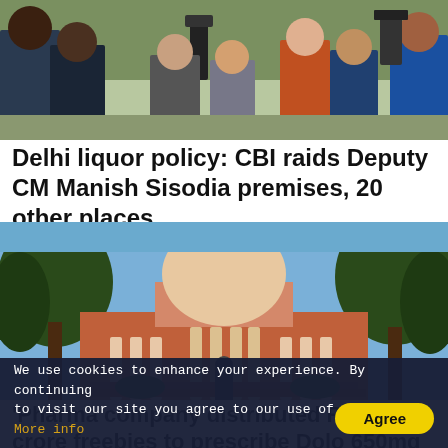[Figure (photo): Crowd of people with cameras and media equipment outdoors]
Delhi liquor policy: CBI raids Deputy CM Manish Sisodia premises, 20 other places
[Figure (photo): Supreme Court of India building with dome, red sandstone facade and trees]
'Pharma company distributed Rs 1000 crore freebies to prescribe Dolo 650mg tablets': SC
We use cookies to enhance your experience. By continuing to visit our site you agree to our use of cookies. More info